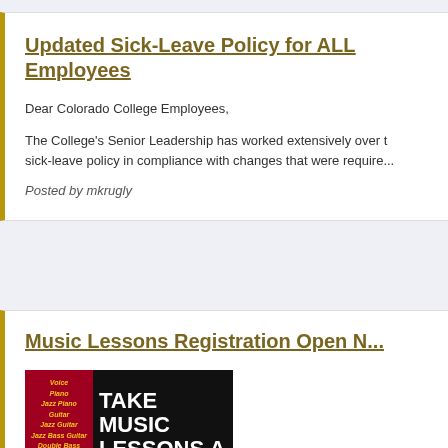Updated Sick-Leave Policy for ALL Employees
Dear Colorado College Employees,
The College's Senior Leadership has worked extensively over the sick-leave policy in compliance with changes that were require...
Posted by mkrugly
Music Lessons Registration Open N...
[Figure (illustration): Music lessons advertisement banner with red left panel listing Voice, Piano, Jazz Piano, Guitar, Jazz Guitar, Jazz Bass Guitar, Double Bass, Classical Guitar in yellow italic text, and black right panel with large white text reading TAKE MUSIC LESSONS A...]